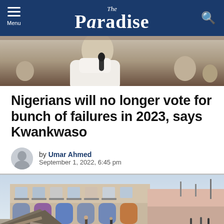The Paradise
[Figure (photo): Cropped photo of a person in white clothing holding a microphone, partially visible]
Nigerians will no longer vote for bunch of failures in 2023, says Kwankwaso
by Umar Ahmed
September 1, 2022, 6:45 pm
[Figure (photo): Photo of a damaged/destroyed market or commercial building area with rubble and debris in the foreground, showing row of arched storefronts in background]